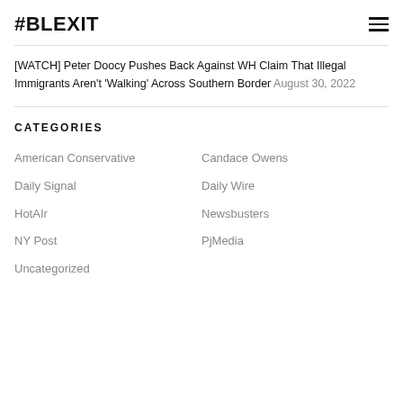#BLEXIT
[WATCH] Peter Doocy Pushes Back Against WH Claim That Illegal Immigrants Aren't 'Walking' Across Southern Border August 30, 2022
CATEGORIES
American Conservative
Candace Owens
Daily Signal
Daily Wire
HotAIr
Newsbusters
NY Post
PjMedia
Uncategorized